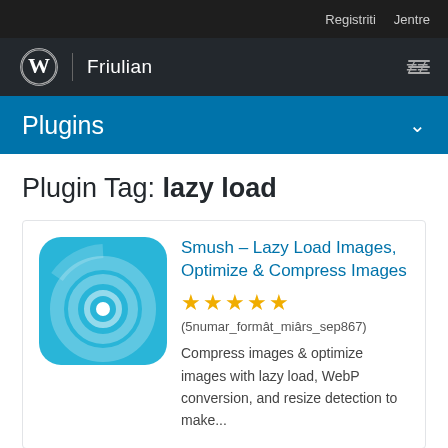Registriti   Jentre
Friulian
Plugins
Plugin Tag: lazy load
[Figure (logo): Smush plugin icon — rounded square with cyan/sky blue background, concentric circular rings in lighter blue/white tones with a small circle in center]
Smush – Lazy Load Images, Optimize & Compress Images
★★★★★ (5numar_formât_miârs_sep867)
Compress images & optimize images with lazy load, WebP conversion, and resize detection to make...